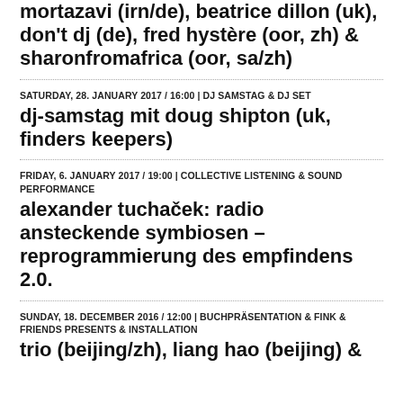mortazavi (irn/de), beatrice dillon (uk), don't dj (de), fred hystère (oor, zh) & sharonfromafrica (oor, sa/zh)
SATURDAY, 28. JANUARY 2017 / 16:00 | DJ SAMSTAG & DJ SET
dj-samstag mit doug shipton (uk, finders keepers)
FRIDAY, 6. JANUARY 2017 / 19:00 | COLLECTIVE LISTENING & SOUND PERFORMANCE
alexander tuchaček: radio ansteckende symbiosen – reprogrammierung des empfindens 2.0.
SUNDAY, 18. DECEMBER 2016 / 12:00 | BUCHPRÄSENTATION & FINK & FRIENDS PRESENTS & INSTALLATION
trio (beijing/zh), liang hao (beijing) &